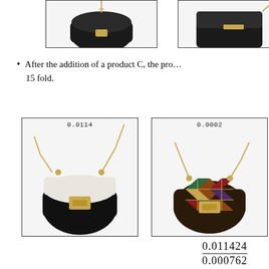[Figure (photo): Top-left product image: black handbag with gold chain, partially visible, shown cropped at top of page]
[Figure (photo): Top-right product image: black handbag with gold hardware, partially visible, shown cropped at top of page]
After the addition of a product C, the pro… 15 fold.
[Figure (photo): Bottom-left product image: black and white leather handbag (Chloe Drew style) with gold chain, score label 0.0114]
[Figure (photo): Bottom-middle product image: multicolor patchwork handbag with diamond pattern and gold hardware, score label 0.0002]
[Figure (photo): Bottom-right product image: partially visible, cut off at right edge of page]